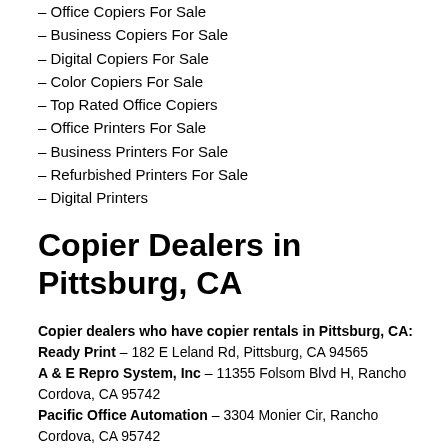– Office Copiers For Sale
– Business Copiers For Sale
– Digital Copiers For Sale
– Color Copiers For Sale
– Top Rated Office Copiers
– Office Printers For Sale
– Business Printers For Sale
– Refurbished Printers For Sale
– Digital Printers
Copier Dealers in Pittsburg, CA
Copier dealers who have copier rentals in Pittsburg, CA:
Ready Print – 182 E Leland Rd, Pittsburg, CA 94565
A & E Repro System, Inc – 11355 Folsom Blvd H, Rancho Cordova, CA 95742
Pacific Office Automation – 3304 Monier Cir, Rancho Cordova, CA 95742